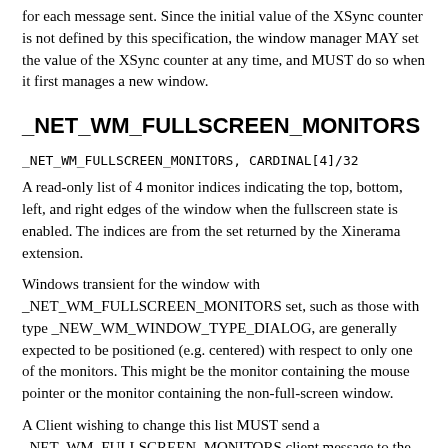for each message sent. Since the initial value of the XSync counter is not defined by this specification, the window manager MAY set the value of the XSync counter at any time, and MUST do so when it first manages a new window.
_NET_WM_FULLSCREEN_MONITORS
_NET_WM_FULLSCREEN_MONITORS, CARDINAL[4]/32
A read-only list of 4 monitor indices indicating the top, bottom, left, and right edges of the window when the fullscreen state is enabled. The indices are from the set returned by the Xinerama extension.
Windows transient for the window with _NET_WM_FULLSCREEN_MONITORS set, such as those with type _NEW_WM_WINDOW_TYPE_DIALOG, are generally expected to be positioned (e.g. centered) with respect to only one of the monitors. This might be the monitor containing the mouse pointer or the monitor containing the non-full-screen window.
A Client wishing to change this list MUST send a _NET_WM_FULLSCREEN_MONITORS client message to the root window. The Window Manager MUST keep this list updated to reflect the current state of the window.